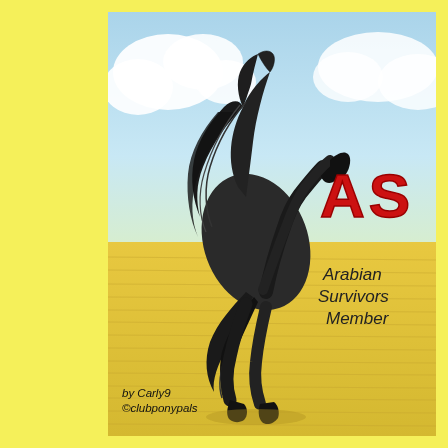[Figure (illustration): Hand-drawn colored pencil illustration of a rearing black Arabian horse on a sandy desert background with blue sky and white clouds. Red letters 'AS' appear to the right of the horse, with text 'Arabian Survivors Member' below in dark handwritten style. Bottom left shows 'by Carly9 ©clubponypals'.]
by Carly9
©clubponypals